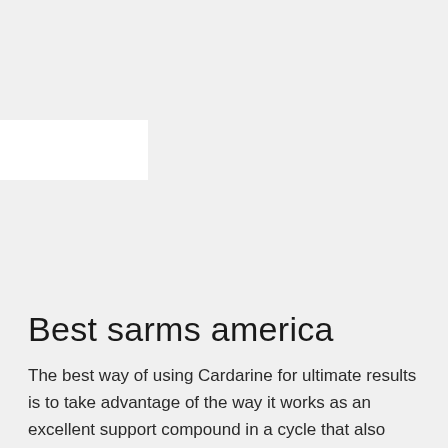Best sarms america
The best way of using Cardarine for ultimate results is to take advantage of the way it works as an excellent support compound in a cycle that also includes either SARMs or anabolic steroids. The fact that Cardarine is metabolized quickly and only works when the rest of your regimen is in place makes it the ideal supplement for many athletes and powerlifters who regularly cycle.